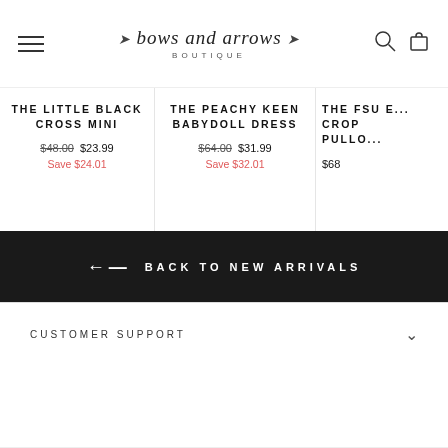Bows and Arrows Boutique - navigation header with hamburger menu, logo, search and bag icons
THE LITTLE BLACK CROSS MINI
$48.00 $23.99
Save $24.01
THE PEACHY KEEN BABYDOLL DRESS
$64.00 $31.99
Save $32.01
THE FSU E... CROP PULLO...
$68
← BACK TO NEW ARRIVALS
CUSTOMER SUPPORT